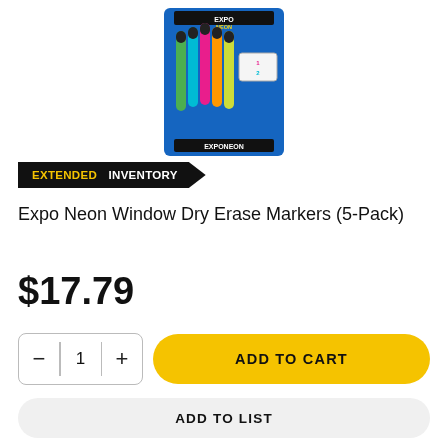[Figure (photo): Product photo of Expo Neon Window Dry Erase Markers 5-Pack in retail packaging, showing multiple neon-colored markers fanned out against a blue card backing.]
EXTENDED INVENTORY
Expo Neon Window Dry Erase Markers (5-Pack)
$17.79
ADD TO CART
ADD TO LIST
ADD TO QUOTE